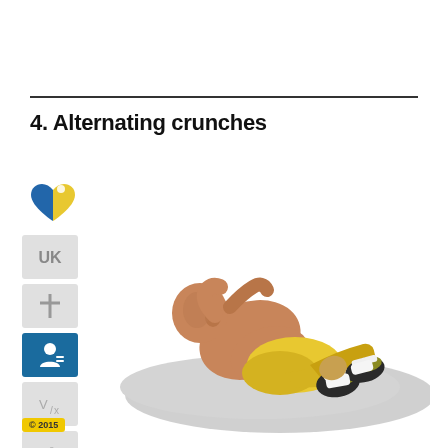4. Alternating crunches
[Figure (illustration): 3D rendered illustration of a man performing alternating crunches exercise on a grey mat, wearing yellow shorts and athletic shoes, hands behind head, torso raised and twisted to one side]
[Figure (logo): Heart-shaped logo with blue and yellow halves]
[Figure (infographic): Sidebar icons: difficulty icon (grey), posture icon (grey), level icon (blue with person), ratio icon (grey with Vx), number 4 icon (grey)]
© 2015